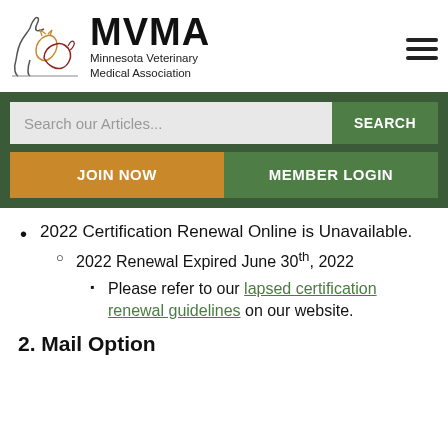[Figure (logo): MVMA logo with animal outlines (horse, cat, dog) and text 'MVMA Minnesota Veterinary Medical Association']
2022 Certification Renewal Online is Unavailable.
2022 Renewal Expired June 30th, 2022
Please refer to our lapsed certification renewal guidelines on our website.
2. Mail Option